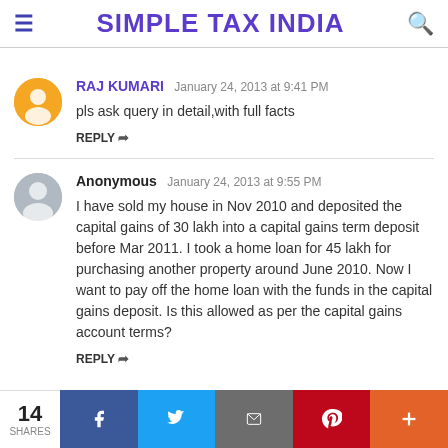SIMPLE TAX INDIA
RAJ KUMARI  January 24, 2013 at 9:41 PM
pls ask query in detail,with full facts
REPLY
Anonymous  January 24, 2013 at 9:55 PM
I have sold my house in Nov 2010 and deposited the capital gains of 30 lakh into a capital gains term deposit before Mar 2011. I took a home loan for 45 lakh for purchasing another property around June 2010. Now I want to pay off the home loan with the funds in the capital gains deposit. Is this allowed as per the capital gains account terms?
REPLY
14 SHARES